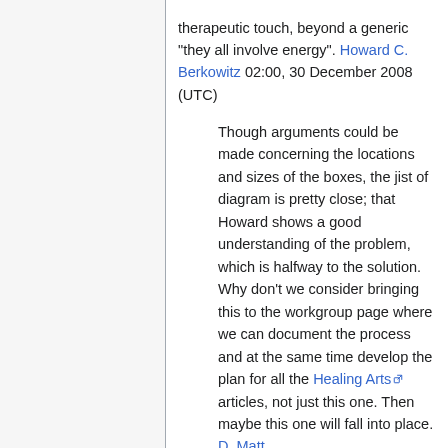therapeutic touch, beyond a generic "they all involve energy". Howard C. Berkowitz 02:00, 30 December 2008 (UTC)
Though arguments could be made concerning the locations and sizes of the boxes, the jist of diagram is pretty close; that Howard shows a good understanding of the problem, which is halfway to the solution. Why don't we consider bringing this to the workgroup page where we can document the process and at the same time develop the plan for all the Healing Arts articles, not just this one. Then maybe this one will fall into place. D. Matt